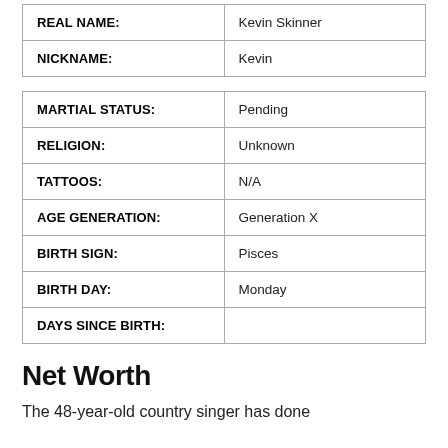| REAL NAME: | Kevin Skinner |
| NICKNAME: | Kevin |
| MARTIAL STATUS: | Pending |
| RELIGION: | Unknown |
| TATTOOS: | N/A |
| AGE GENERATION: | Generation X |
| BIRTH SIGN: | Pisces |
| BIRTH DAY: | Monday |
| DAYS SINCE BIRTH: |  |
Net Worth
The 48-year-old country singer has done